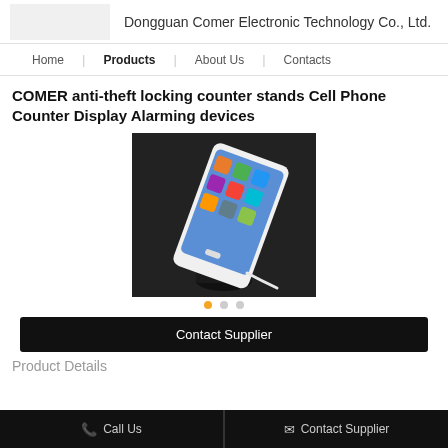Dongguan Comer Electronic Technology Co., Ltd.
Home | Products | About Us | Contacts
COMER anti-theft locking counter stands Cell Phone Counter Display Alarming devices
[Figure (photo): A white smartphone displayed on a black anti-theft counter stand with a white cable attached, against a dark background.]
Contact Supplier
Product Details
Call Us  Contact Supplier